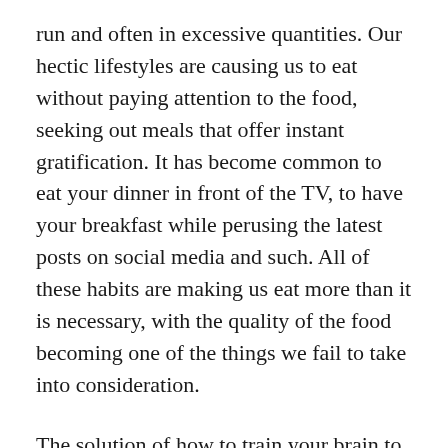run and often in excessive quantities. Our hectic lifestyles are causing us to eat without paying attention to the food, seeking out meals that offer instant gratification. It has become common to eat your dinner in front of the TV, to have your breakfast while perusing the latest posts on social media and such. All of these habits are making us eat more than it is necessary, with the quality of the food becoming one of the things we fail to take into consideration.
The solution of how to train your brain to eat less is to take a step back and re-discover mindful eating. We need to eat in accordance with what the body needs. We have to analyze ourselves and decide whether we are actually